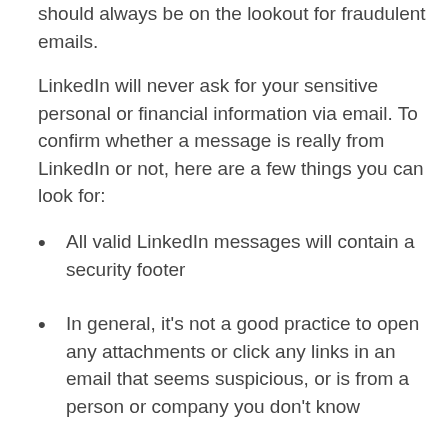should always be on the lookout for fraudulent emails.
LinkedIn will never ask for your sensitive personal or financial information via email. To confirm whether a message is really from LinkedIn or not, here are a few things you can look for:
All valid LinkedIn messages will contain a security footer
In general, it's not a good practice to open any attachments or click any links in an email that seems suspicious, or is from a person or company you don't know
Here are some indicators which should raise your suspicions that the email claiming to be from LinkedIn is not legitimate: